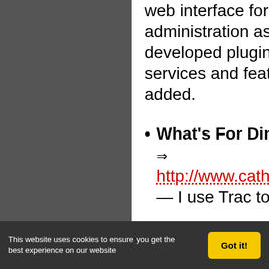web interface for project administration as well a fully-developed plugin system so that new services and features can be easily added.
What's For Dinner — http://www.catherinerodgers.com/trac — I use Trac to manage my
This website uses cookies to ensure you get the best experience on our website